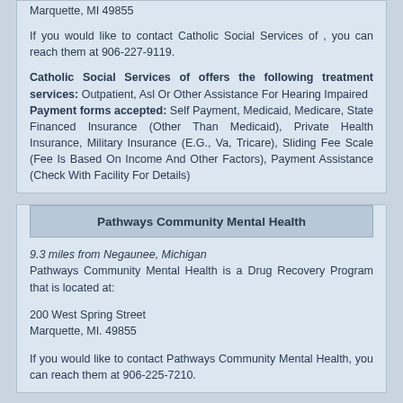Marquette, MI 49855
If you would like to contact Catholic Social Services of , you can reach them at 906-227-9119.
Catholic Social Services of offers the following treatment services: Outpatient, Asl Or Other Assistance For Hearing Impaired
Payment forms accepted: Self Payment, Medicaid, Medicare, State Financed Insurance (Other Than Medicaid), Private Health Insurance, Military Insurance (E.G., Va, Tricare), Sliding Fee Scale (Fee Is Based On Income And Other Factors), Payment Assistance (Check With Facility For Details)
Pathways Community Mental Health
9.3 miles from Negaunee, Michigan
Pathways Community Mental Health is a Drug Recovery Program that is located at:
200 West Spring Street
Marquette, MI. 49855
If you would like to contact Pathways Community Mental Health, you can reach them at 906-225-7210.